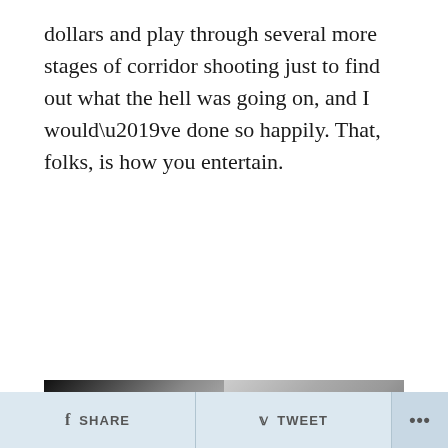dollars and play through several more stages of corridor shooting just to find out what the hell was going on, and I would’ve done so happily. That, folks, is how you entertain.
[Figure (photo): Partial photo strip showing dark left section and lighter right section, appearing to be a scene or screenshot from a game or film]
f SHARE   🐦 TWEET   ...